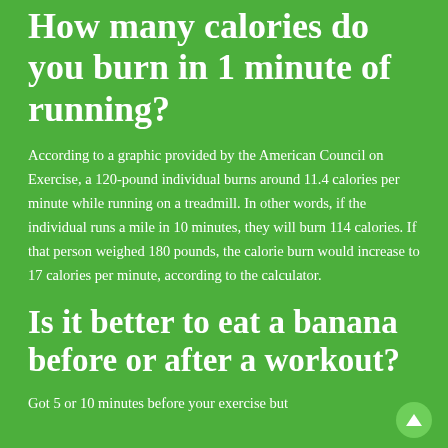How many calories do you burn in 1 minute of running?
According to a graphic provided by the American Council on Exercise, a 120-pound individual burns around 11.4 calories per minute while running on a treadmill. In other words, if the individual runs a mile in 10 minutes, they will burn 114 calories. If that person weighed 180 pounds, the calorie burn would increase to 17 calories per minute, according to the calculator.
Is it better to eat a banana before or after a workout?
Got 5 or 10 minutes before your exercise but